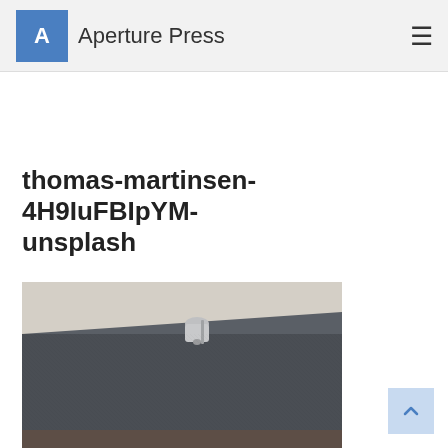Aperture Press
thomas-martinsen-4H9IuFBIpYM-unsplash
[Figure (photo): A fountain pen resting on top of a dark gray/charcoal hardcover notebook, photographed from a close angle on a light surface. The image is slightly desaturated with a vintage feel.]